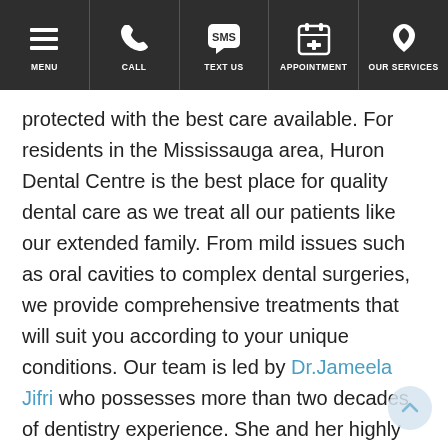MENU | CALL | TEXT US | APPOINTMENT | OUR SERVICES
protected with the best care available. For residents in the Mississauga area, Huron Dental Centre is the best place for quality dental care as we treat all our patients like our extended family. From mild issues such as oral cavities to complex dental surgeries, we provide comprehensive treatments that will suit you according to your unique conditions. Our team is led by Dr.Jameela Jifri who possesses more than two decades of dentistry experience. She and her highly skilled team of dentists who share the same values of compassion and friendly care when it comes to treating patients. Our services include but are not limited to general, cosmetic, orthodontics, children's and emergency dentistry treatments. As we consider patients' convenience at all times, we provide easy appointment hours including